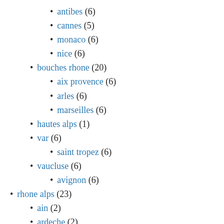antibes (6)
cannes (5)
monaco (6)
nice (6)
bouches rhone (20)
aix provence (6)
arles (6)
marseilles (6)
hautes alps (1)
var (6)
saint tropez (6)
vaucluse (6)
avignon (6)
rhone alps (23)
ain (2)
ardeche (2)